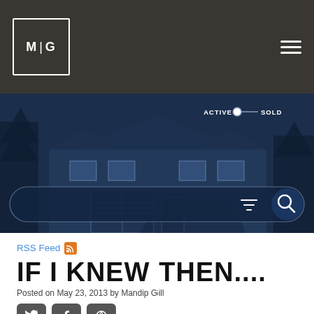M|G — Navigation header with logo and hamburger menu
[Figure (screenshot): Hero image of a house with dark blue overlay, ACTIVE/SOLD toggle, and a search bar with filter and search icons]
RSS Feed
IF I KNEW THEN....
Posted on May 23, 2013 by Mandip Gill
[Figure (other): Social share buttons: Twitter, Facebook, Google+]